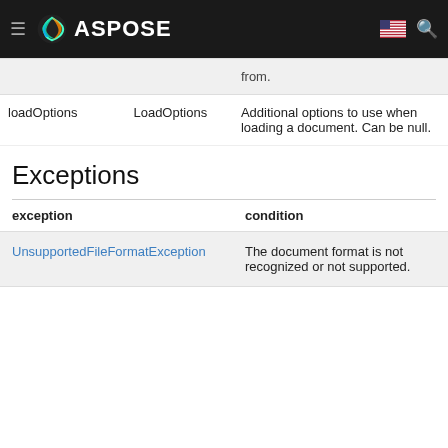[Figure (logo): Aspose logo and navigation bar with hamburger menu, Aspose swirl logo, ASPOSE text, US flag icon, and search icon on dark background]
|  |  | from. |
| --- | --- | --- |
| loadOptions | LoadOptions | Additional options to use when loading a document. Can be null. |
Exceptions
| exception | condition |
| --- | --- |
| UnsupportedFileFormatException | The document format is not recognized or not supported. |